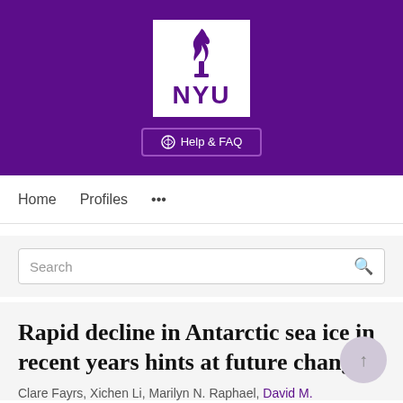[Figure (logo): NYU (New York University) logo — white box with purple torch flame icon above bold purple 'NYU' text, on a dark purple banner background]
[Figure (other): Help & FAQ button with globe/question icon on purple background]
Home   Profiles   ...
Search
Rapid decline in Antarctic sea ice in recent years hints at future change
Clare Fayrs, Xichen Li, Marilyn N. Raphael, David M.